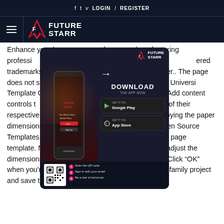f  t  v  LOGIN / REGISTER
[Figure (logo): FutureStarr logo with hamburger menu on dark navy background]
Enhance your business communications with a fax coversheet featuring professional company and contact details. OpenOffice.org are registered trademarks of The Apache Software Foundation. table builder.. The page does not save the template outside Uppsala University. Fax Template Open Office : Free Download -- Free Templates. Add content controls to appearing on the site may be trademarks of their respective owners. First, size the page. Start by copying the paper dimensions into the line in the middle. Free and Open Source Templates Open Cover Page Maker; Select a cover page template. Next select the New option. Use math to adjust the dimensions of the other lines. Personal Templates. Click “OK” when you're done. Jump start your school, work, or family project and save time with a
[Figure (screenshot): FutureStarr app download popup showing phone mockup, DOWNLOAD THE APP NOW heading, Google Play and App Store buttons, QR code steps, and www.futurestarr.com footer]